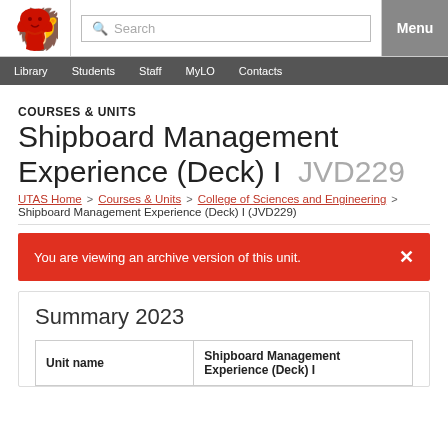[Figure (logo): University of Tasmania red lion logo]
Search | Menu | Library | Students | Staff | MyLO | Contacts
COURSES & UNITS
Shipboard Management Experience (Deck) I  JVD229
UTAS Home > Courses & Units > College of Sciences and Engineering > Shipboard Management Experience (Deck) I (JVD229)
You are viewing an archive version of this unit.
Summary 2023
| Unit name | Shipboard Management Experience (Deck) I |
| --- | --- |